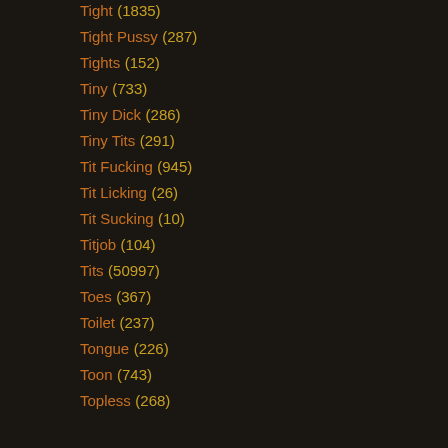Tight (1835)
Tight Pussy (287)
Tights (152)
Tiny (733)
Tiny Dick (286)
Tiny Tits (291)
Tit Fucking (945)
Tit Licking (26)
Tit Sucking (10)
Titjob (104)
Tits (50997)
Toes (367)
Toilet (237)
Tongue (226)
Toon (743)
Topless (268)